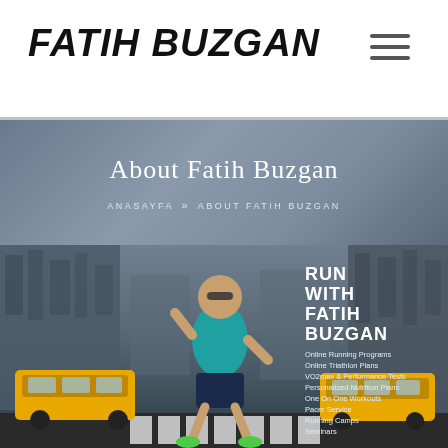Fatih Buzgan
About Fatih Buzgan
ANASAYFA >> ABOUT FATIH BUZGAN
[Figure (photo): A man wearing sunglasses and a teal polo shirt running on a city street crosswalk, with yellow taxis on either side and tall buildings in the background. Overlay text reads: RUN WITH FATIH BUZGAN, with a list of services including Online Running Programs, Online Triathlon Plans, VO2max & Performance Tests, Personalized Nutrition Plans, One On One Workouts, Pacer Service, Running Camps, Seminars.]